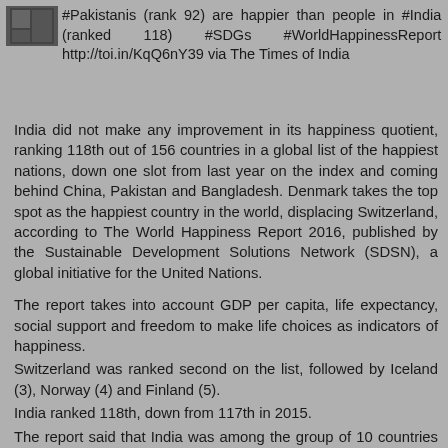#Pakistanis (rank 92) are happier than people in #India (ranked 118) #SDGs #WorldHappinessReport http://toi.in/KqQ6nY39 via The Times of India
India did not make any improvement in its happiness quotient, ranking 118th out of 156 countries in a global list of the happiest nations, down one slot from last year on the index and coming behind China, Pakistan and Bangladesh. Denmark takes the top spot as the happiest country in the world, displacing Switzerland, according to The World Happiness Report 2016, published by the Sustainable Development Solutions Network (SDSN), a global initiative for the United Nations.
The report takes into account GDP per capita, life expectancy, social support and freedom to make life choices as indicators of happiness.
Switzerland was ranked second on the list, followed by Iceland (3), Norway (4) and Finland (5).
India ranked 118th, down from 117th in 2015.
The report said that India was among the group of 10 countries witnessing the largest happiness declines along with Venezuela, Saudi Arabia, Egypt, Yemen and